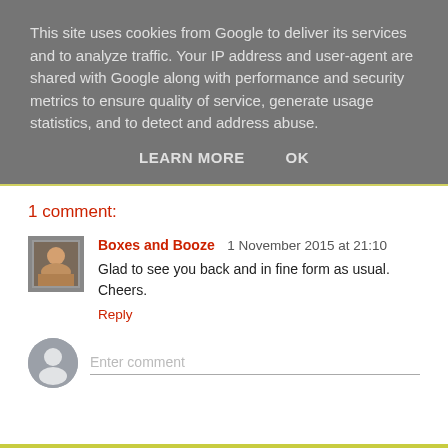This site uses cookies from Google to deliver its services and to analyze traffic. Your IP address and user-agent are shared with Google along with performance and security metrics to ensure quality of service, generate usage statistics, and to detect and address abuse.
LEARN MORE    OK
1 comment:
Boxes and Booze  1 November 2015 at 21:10
Glad to see you back and in fine form as usual. Cheers.
Reply
Enter comment